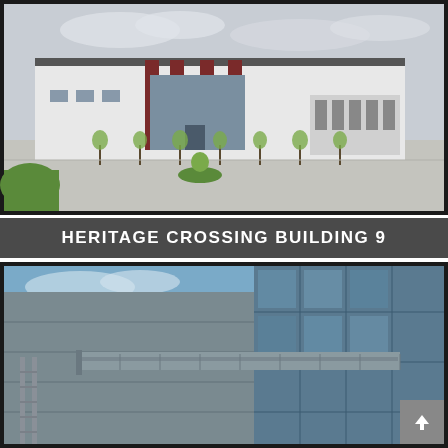[Figure (photo): Exterior photo of a large white industrial warehouse building with dark red/maroon accent columns and entrance facade, loading docks visible on the right side, surrounded by a large parking/truck court area, newly planted trees along the front, overcast sky]
HERITAGE CROSSING BUILDING 9
[Figure (photo): Close-up exterior photo of a modern industrial/commercial building corner showing grey panel cladding, large glass curtain wall windows, and a metal canopy overhang structure against a blue sky with clouds]